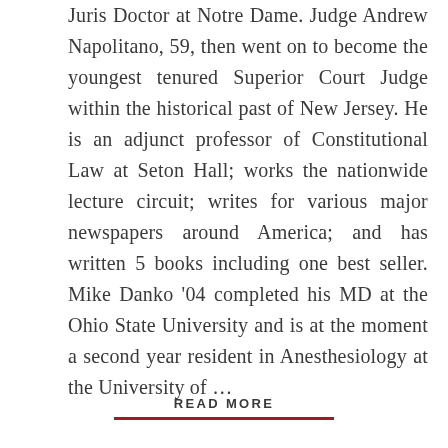Juris Doctor at Notre Dame. Judge Andrew Napolitano, 59, then went on to become the youngest tenured Superior Court Judge within the historical past of New Jersey. He is an adjunct professor of Constitutional Law at Seton Hall; works the nationwide lecture circuit; writes for various major newspapers around America; and has written 5 books including one best seller. Mike Danko ’04 completed his MD at the Ohio State University and is at the moment a second year resident in Anesthesiology at the University of …
READ MORE